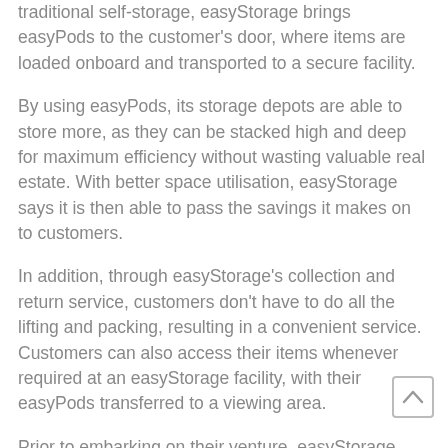traditional self-storage, easyStorage brings easyPods to the customer's door, where items are loaded onboard and transported to a secure facility.
By using easyPods, its storage depots are able to store more, as they can be stacked high and deep for maximum efficiency without wasting valuable real estate. With better space utilisation, easyStorage says it is then able to pass the savings it makes on to customers.
In addition, through easyStorage's collection and return service, customers don't have to do all the lifting and packing, resulting in a convenient service. Customers can also access their items whenever required at an easyStorage facility, with their easyPods transferred to a viewing area.
Prior to embarking on their venture, easyStorage says th new franchisees have accumulated vast experience in sales